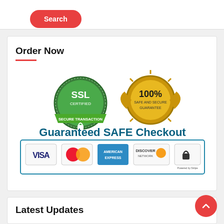[Figure (screenshot): Red rounded Search button]
Order Now
[Figure (infographic): Guaranteed SAFE Checkout badge with SSL Certified, 100% Guarantee, Visa, MasterCard, American Express, Discover Network, Stripe payment logos]
Latest Updates